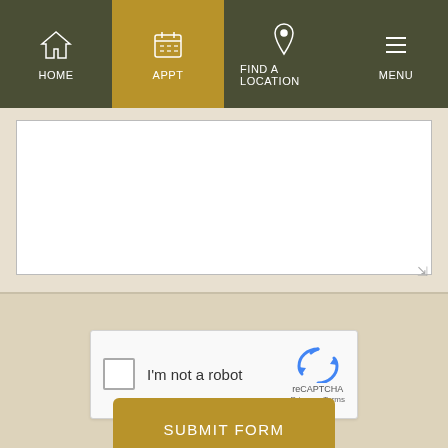HOME | APPT | FIND A LOCATION | MENU
[Figure (screenshot): Textarea form field (white box for text input) with resize handle in bottom right corner, on a light tan background]
[Figure (screenshot): reCAPTCHA widget with checkbox, 'I'm not a robot' label, reCAPTCHA logo with blue arrows icon, Privacy and Terms links]
SUBMIT FORM